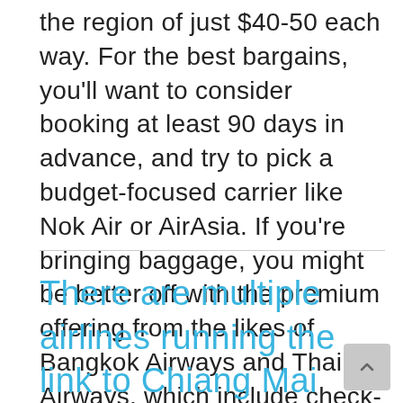the region of just $40-50 each way. For the best bargains, you'll want to consider booking at least 90 days in advance, and try to pick a budget-focused carrier like Nok Air or AirAsia. If you're bringing baggage, you might be better off with the premium offering from the likes of Bangkok Airways and Thai Airways, which include check-in as standard.
There are multiple airlines running the link to Chiang Mai from both of Bangkok's major